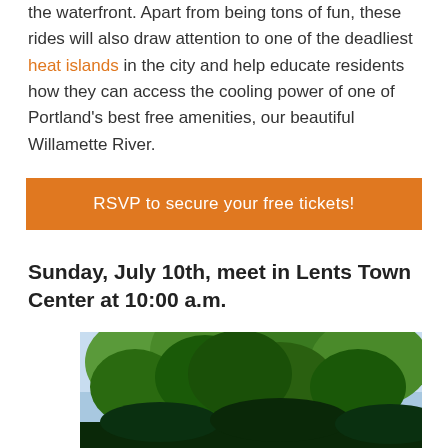the waterfront. Apart from being tons of fun, these rides will also draw attention to one of the deadliest heat islands in the city and help educate residents how they can access the cooling power of one of Portland's best free amenities, our beautiful Willamette River.
RSVP to secure your free tickets!
Sunday, July 10th, meet in Lents Town Center at 10:00 a.m.
[Figure (photo): Photo of tall trees with green foliage against a bright sky, viewed from below.]